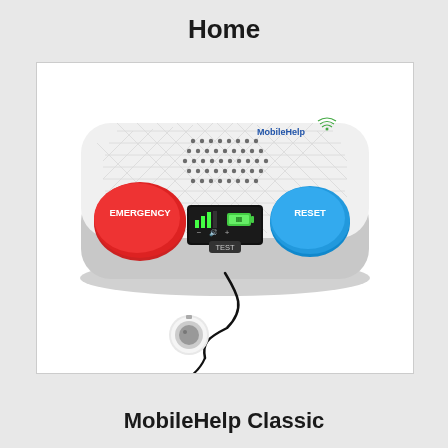Home
[Figure (photo): MobileHelp Classic medical alert device — a white rounded rectangular base unit with diamond-pattern top surface, speaker grille, a red EMERGENCY button on the left, a blue RESET button on the right, a central black LCD display showing signal bars and battery indicator with TEST button, and a small white pendant/help button on a black lanyard hanging below.]
MobileHelp Classic